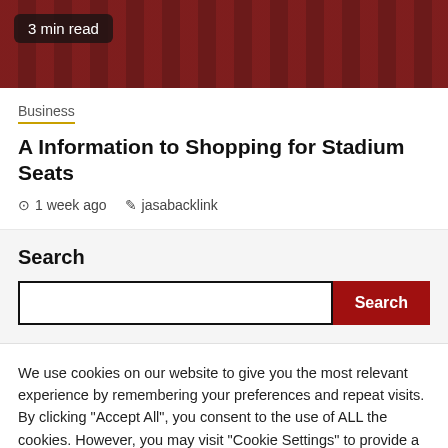[Figure (photo): Dark red stadium seats hero image with '3 min read' badge overlay]
Business
A Information to Shopping for Stadium Seats
⊙ 1 week ago  ✎ jasabacklink
Search
We use cookies on our website to give you the most relevant experience by remembering your preferences and repeat visits. By clicking "Accept All", you consent to the use of ALL the cookies. However, you may visit "Cookie Settings" to provide a controlled consent.
Cookie Settings   Accept All